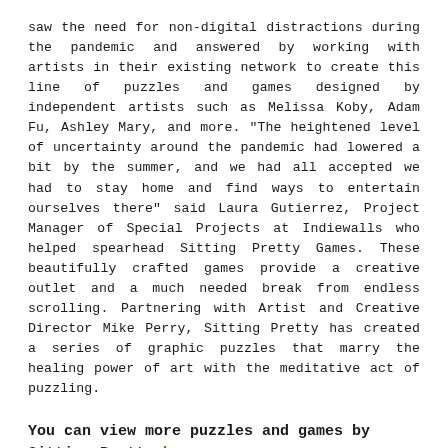saw the need for non-digital distractions during the pandemic and answered by working with artists in their existing network to create this line of puzzles and games designed by independent artists such as Melissa Koby, Adam Fu, Ashley Mary, and more. “The heightened level of uncertainty around the pandemic had lowered a bit by the summer, and we had all accepted we had to stay home and find ways to entertain ourselves there” said Laura Gutierrez, Project Manager of Special Projects at Indiewalls who helped spearhead Sitting Pretty Games. These beautifully crafted games provide a creative outlet and a much needed break from endless scrolling. Partnering with Artist and Creative Director Mike Perry, Sitting Pretty has created a series of graphic puzzles that marry the healing power of art with the meditative act of puzzling.
You can view more puzzles and games by Sitting Pretty here.